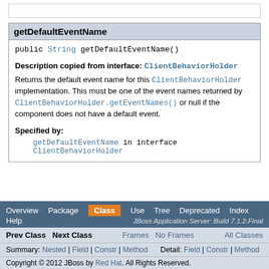getDefaultEventName
public String getDefaultEventName()
Description copied from interface: ClientBehaviorHolder
Returns the default event name for this ClientBehaviorHolder implementation. This must be one of the event names returned by ClientBehaviorHolder.getEventNames() or null if the component does not have a default event.
Specified by:
getDefaultEventName in interface ClientBehaviorHolder
Overview Package Class Use Tree Deprecated Index Help JBoss Application Server: Build 7.1.2.Final
Prev Class Next Class Frames No Frames All Classes
Summary: Nested | Field | Constr | Method Detail: Field | Constr | Method
Copyright © 2012 JBoss by Red Hat. All Rights Reserved.